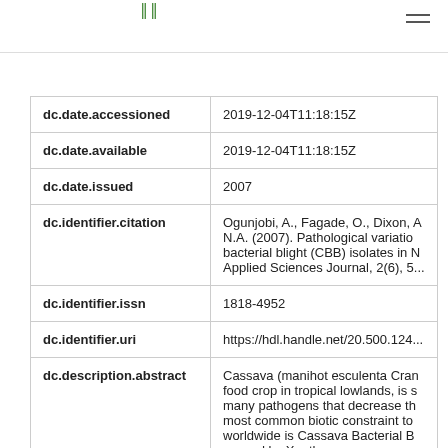| Field | Value |
| --- | --- |
| dc.date.accessioned | 2019-12-04T11:18:15Z |
| dc.date.available | 2019-12-04T11:18:15Z |
| dc.date.issued | 2007 |
| dc.identifier.citation | Ogunjobi, A., Fagade, O., Dixon, A., N.A. (2007). Pathological variation bacterial blight (CBB) isolates in N Applied Sciences Journal, 2(6), 5... |
| dc.identifier.issn | 1818-4952 |
| dc.identifier.uri | https://hdl.handle.net/20.500.124... |
| dc.description.abstract | Cassava (manihot esculenta Cran food crop in tropical lowlands, is s many pathogens that decrease th most common biotic constraint to worldwide is Cassava Bacterial B caused by Xanthomonas axonopo Manihotis (Xam). |